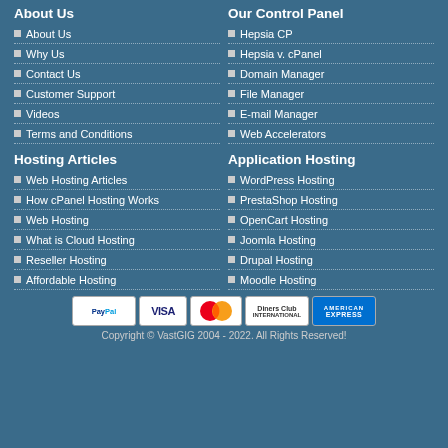About Us
About Us
Why Us
Contact Us
Customer Support
Videos
Terms and Conditions
Our Control Panel
Hepsia CP
Hepsia v. cPanel
Domain Manager
File Manager
E-mail Manager
Web Accelerators
Hosting Articles
Web Hosting Articles
How cPanel Hosting Works
Web Hosting
What is Cloud Hosting
Reseller Hosting
Affordable Hosting
Application Hosting
WordPress Hosting
PrestaShop Hosting
OpenCart Hosting
Joomla Hosting
Drupal Hosting
Moodle Hosting
[Figure (other): Payment logos: PayPal, Visa, MasterCard, Diners Club, American Express]
Copyright © VastGIG 2004 - 2022. All Rights Reserved!